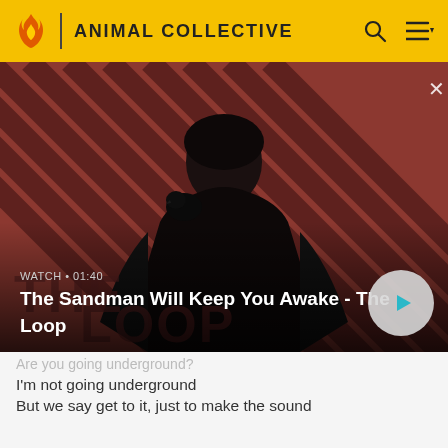ANIMAL COLLECTIVE
[Figure (screenshot): Video thumbnail showing a dark figure with a raven/crow on shoulder against a diagonal red and dark striped background. Shows text 'THE LOOP' overlay. Duration shown as WATCH • 01:40. Title: The Sandman Will Keep You Awake - The Loop. Play button on right.]
Are you going underground?
I'm not going underground
But we say get to it, just to make the sound
Are you going underground?
I'm not going underground
We're not going underground